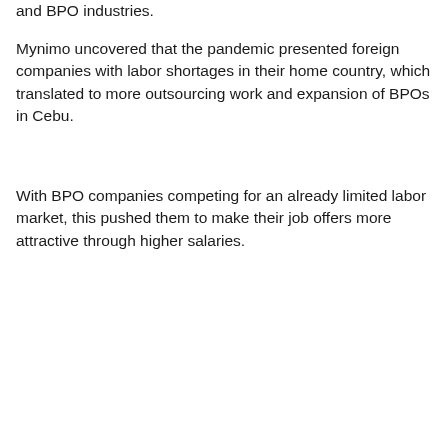and BPO industries.
Mynimo uncovered that the pandemic presented foreign companies with labor shortages in their home country, which translated to more outsourcing work and expansion of BPOs in Cebu.
With BPO companies competing for an already limited labor market, this pushed them to make their job offers more attractive through higher salaries.